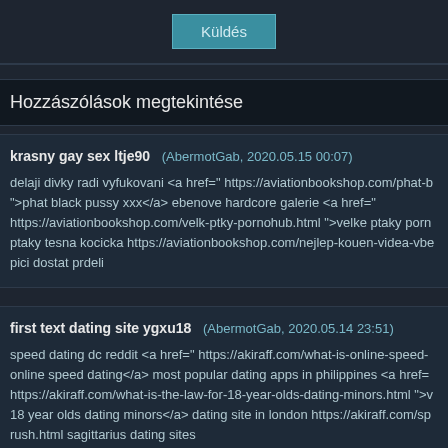Küldés
Hozzászólások megtekintése
krasny gay sex ltje90 (AbermotGab, 2020.05.15 00:07)
delaji divky radi vyfukovani <a href=" https://aviationbookshop.com/phat-b ">phat black pussy xxx</a> ebenove hardcore galerie <a href=" https://aviationbookshop.com/velk-ptky-pornohub.html ">velke ptaky porn ptaky tesna kocicka https://aviationbookshop.com/nejlep-kouen-videa-vbe pici dostat prdeli
first text dating site ygxu18 (AbermotGab, 2020.05.14 23:51)
speed dating dc reddit <a href=" https://akiraff.com/what-is-online-speed- online speed dating</a> most popular dating apps in philippines <a href= https://akiraff.com/what-is-the-law-for-18-year-olds-dating-minors.html ">v 18 year olds dating minors</a> dating site in london https://akiraff.com/sp rush.html sagittarius dating sites